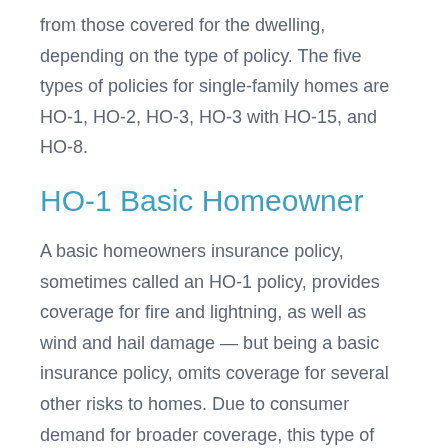from those covered for the dwelling, depending on the type of policy. The five types of policies for single-family homes are HO-1, HO-2, HO-3, HO-3 with HO-15, and HO-8.
HO-1 Basic Homeowner
A basic homeowners insurance policy, sometimes called an HO-1 policy, provides coverage for fire and lightning, as well as wind and hail damage — but being a basic insurance policy, omits coverage for several other risks to homes. Due to consumer demand for broader coverage, this type of policy is not commonly available from insurers.